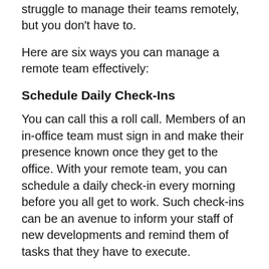struggle to manage their teams remotely, but you don't have to.
Here are six ways you can manage a remote team effectively:
Schedule Daily Check-Ins
You can call this a roll call. Members of an in-office team must sign in and make their presence known once they get to the office. With your remote team, you can schedule a daily check-in every morning before you all get to work. Such check-ins can be an avenue to inform your staff of new developments and remind them of tasks that they have to execute.
Set Expectations and Rules
Setting expectations for your team will serve as a